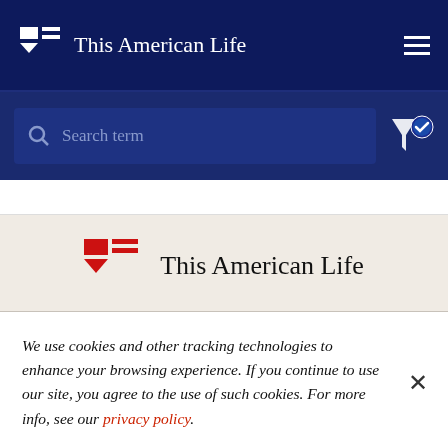This American Life
Search term
This American Life
We use cookies and other tracking technologies to enhance your browsing experience. If you continue to use our site, you agree to the use of such cookies. For more info, see our privacy policy.